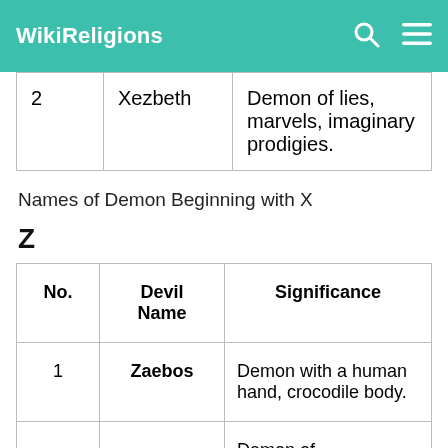WikiReligions
|  |  |  |
| --- | --- | --- |
| 2 | Xezbeth | Demon of lies, marvels, imaginary prodigies. |
Names of Demon Beginning with X
Z
| No. | Devil Name | Significance |
| --- | --- | --- |
| 1 | Zaebos | Demon with a human hand, crocodile body. |
|  |  | Demon of counterfeiters, |